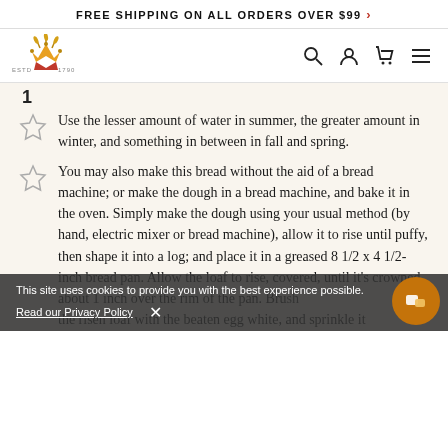FREE SHIPPING ON ALL ORDERS OVER $99 >
[Figure (logo): King Arthur Flour logo with crown and wheat graphic, ESTD 1790]
Use the lesser amount of water in summer, the greater amount in winter, and something in between in fall and spring.
You may also make this bread without the aid of a bread machine; or make the dough in a bread machine, and bake it in the oven. Simply make the dough using your usual method (by hand, electric mixer or bread machine), allow it to rise until puffy, then shape it into a log; and place it in a greased 8 1/2 x 4 1/2-inch bread pan. Allow the loaf to rise, covered, until it's crowned about 1 inch over the rim of the pan. Brush the risen loaf with the beaten egg white, and sprinkle it
This site uses cookies to provide you with the best experience possible.
Read our Privacy Policy